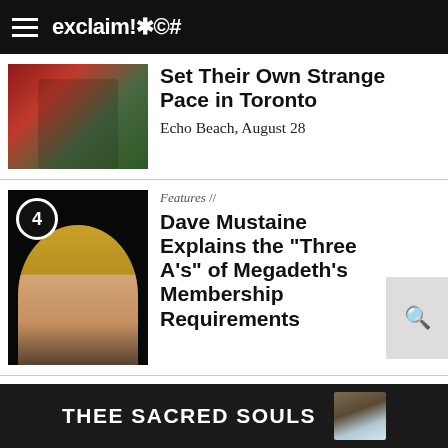exclaim!✱©#
Set Their Own Strange Pace in Toronto
Echo Beach, August 28
Features //
Dave Mustaine Explains the "Three A's" of Megadeth's Membership Requirements
[Figure (screenshot): Advertisement banner: THEE SACRED SOULS with album artwork]